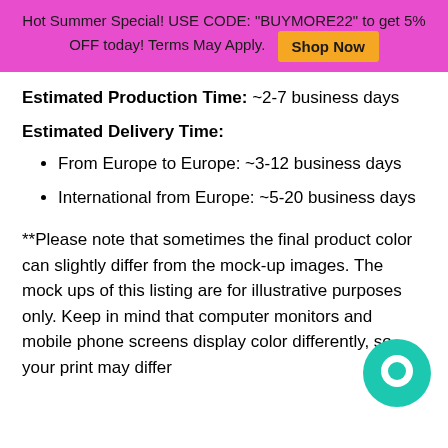Hot Summer Special! USE CODE: "BUYMORE22" to get 5% OFF today! Terms May Apply. Shop Now
Estimated Production Time: ~2-7 business days
Estimated Delivery Time:
From Europe to Europe: ~3-12 business days
International from Europe: ~5-20 business days
**Please note that sometimes the final product color can slightly differ from the mock-up images. The mock ups of this listing are for illustrative purposes only. Keep in mind that computer monitors and mobile phone screens display color differently, so your print may differ